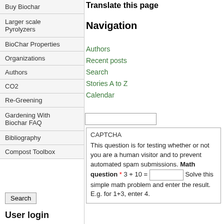Translate this page
Buy Biochar
Larger scale Pyrolyzers
BioChar Properties
Organizations
Authors
CO2
Re-Greening
Gardening With Biochar FAQ
Bibliography
Compost Toolbox
Navigation
Authors
Recent posts
Search
Stories A to Z
Calendar
CAPTCHA
This question is for testing whether or not you are a human visitor and to prevent automated spam submissions. Math question * 3 + 10 = Solve this simple math problem and enter the result. E.g. for 1+3, enter 4.
User login